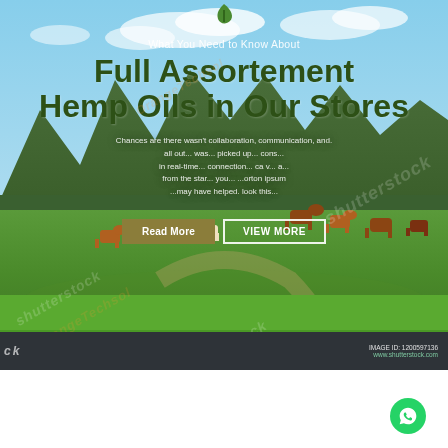[Figure (photo): Website screenshot showing a hemp oil store promotional banner. Background is a stock photo of cows grazing on a green field with mountains in the background. Overlaid with Shutterstock watermarks.]
What You Need to Know About
Full Assortement Hemp Oils in Our Stores
Chances are there wasn't collaboration, communication, and... all out... picked up... in real-time... connection... from the star... ...you... ...may have helped. look...
Read More   VIEW MORE
IMAGE ID: 1200597136
www.shutterstock.com